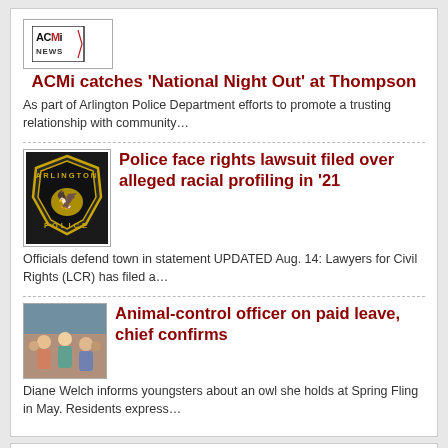[Figure (logo): ACMi News logo]
ACMi catches 'National Night Out' at Thompson
As part of Arlington Police Department efforts to promote a trusting relationship with community…
[Figure (logo): Arlington Police badge logo]
Police face rights lawsuit filed over alleged racial profiling in '21
Officials defend town in statement UPDATED Aug. 14: Lawyers for Civil Rights (LCR) has filed a…
[Figure (photo): Photo of Diane Welch with youngsters at Spring Fling]
Animal-control officer on paid leave, chief confirms
Diane Welch informs youngsters about an owl she holds at Spring Fling in May. Residents express…
Your Community Center